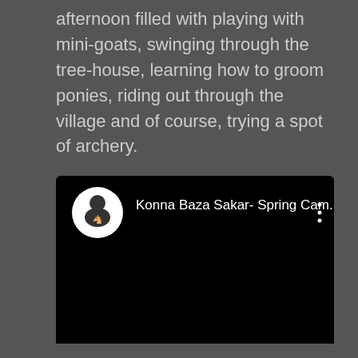afternoon filled with playing with mini-goats, swinging through the tree-house, learning how to groom ponies, riding out through the village and of course, trying a spot of archery.
[Figure (screenshot): Embedded video player (black screen) with a circular logo icon and the title 'Konna Baza Sakar- Spring Cam...' and a three-dot menu icon in the top right]